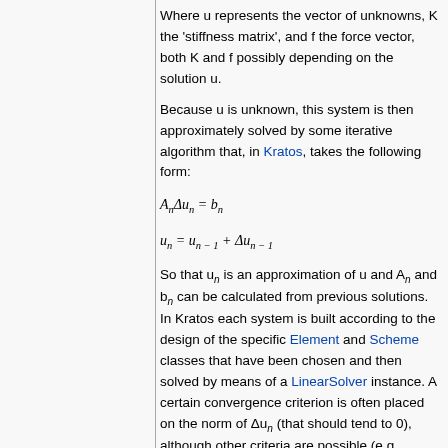Where u represents the vector of unknowns, K the 'stiffness matrix', and f the force vector, both K and f possibly depending on the solution u.
Because u is unknown, this system is then approximately solved by some iterative algorithm that, in Kratos, takes the following form:
So that u_n is an approximation of u and A_n and b_n can be calculated from previous solutions. In Kratos each system is built according to the design of the specific Element and Scheme classes that have been chosen and then solved by means of a LinearSolver instance. A certain convergence criterion is often placed on the norm of Δu_n (that should tend to 0), although other criteria are possible (e.g. energy norm). These criteria are implemented in a particular instance of the ConvergenceCriteria class.